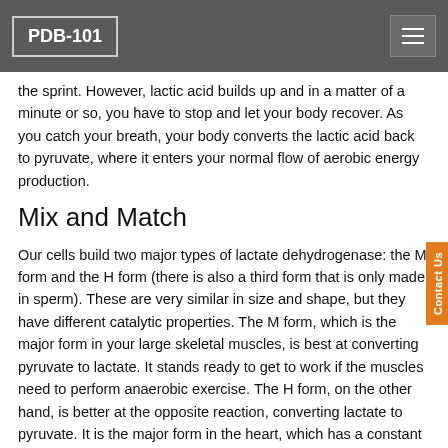PDB-101
the sprint. However, lactic acid builds up and in a matter of a minute or so, you have to stop and let your body recover. As you catch your breath, your body converts the lactic acid back to pyruvate, where it enters your normal flow of aerobic energy production.
Mix and Match
Our cells build two major types of lactate dehydrogenase: the M form and the H form (there is also a third form that is only made in sperm). These are very similar in size and shape, but they have different catalytic properties. The M form, which is the major form in your large skeletal muscles, is best at converting pyruvate to lactate. It stands ready to get to work if the muscles need to perform anaerobic exercise. The H form, on the other hand, is better at the opposite reaction, converting lactate to pyruvate. It is the major form in the heart, which has a constant supply of oxygen and can easily use lactate as an aerobic source of energy. The two types are so similar in structure that they form complexes with a mixture of both types, for instance, with two H chains and two M chains. In this way, different cells can tailor their lactate